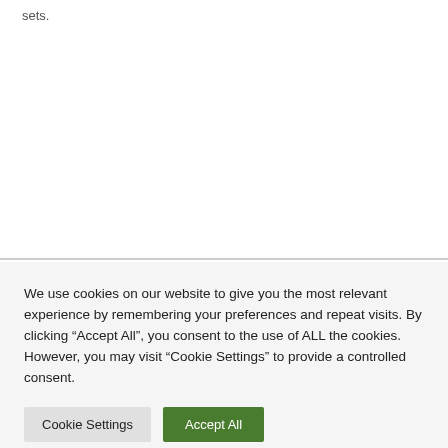sets.
We use cookies on our website to give you the most relevant experience by remembering your preferences and repeat visits. By clicking “Accept All”, you consent to the use of ALL the cookies. However, you may visit "Cookie Settings" to provide a controlled consent.
Cookie Settings
Accept All